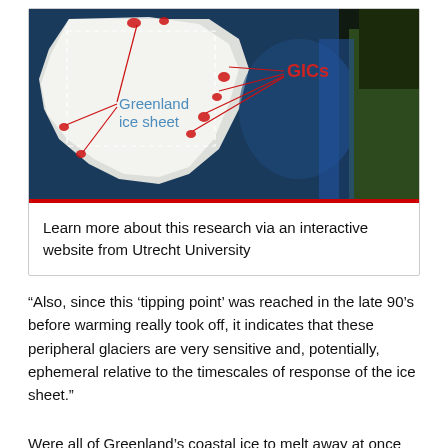[Figure (map): Satellite map view of Greenland and surrounding ocean/land areas, with labels 'Greenland ice sheet' (blue text) and 'GICs' (red text) connected by red lines pointing to peripheral glacier locations around the coast of Greenland. Dashed box outlines the ice sheet region.]
Learn more about this research via an interactive website from Utrecht University
“Also, since this ‘tipping point’ was reached in the late 90’s before warming really took off, it indicates that these peripheral glaciers are very sensitive and, potentially, ephemeral relative to the timescales of response of the ice sheet.”
Were all of Greenland’s coastal ice to melt away at once